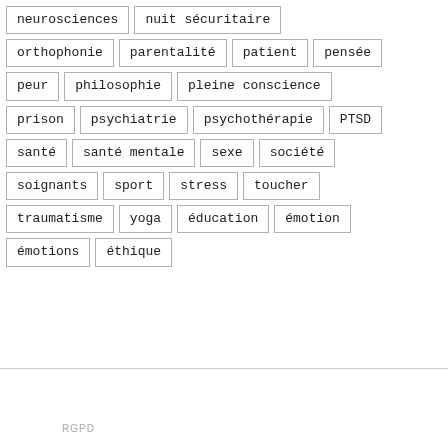neurosciences
nuit sécuritaire
orthophonie
parentalité
patient
pensée
peur
philosophie
pleine conscience
prison
psychiatrie
psychothérapie
PTSD
santé
santé mentale
sexe
société
soignants
sport
stress
toucher
traumatisme
yoga
éducation
émotion
émotions
éthique
RGPD